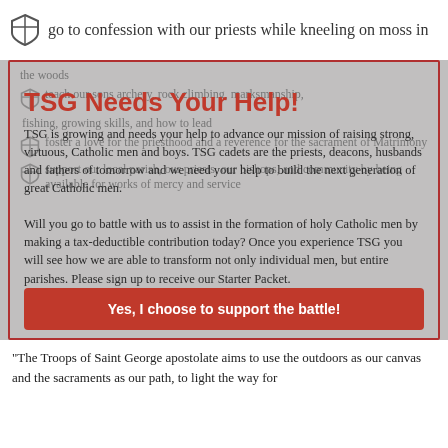go to confession with our priests while kneeling on moss in the woods
TSG Needs Your Help!
teach our sons archery, rock climbing, marksmanship, fishing, growing skills, and how to lead
TSG is growing and needs your help to advance our mission of raising strong, virtuous, Catholic men and boys. TSG cadets are the priests, deacons, husbands and fathers of tomorrow and we need your help to build the next generation of great Catholic men.
foster a love for the priesthood and a reverence for the sacrament of Matrimony
support our local parish, our priests, our bishops, and community by being available for works of mercy and service
Will you go to battle with us to assist in the formation of holy Catholic men by making a tax-deductible contribution today? Once you experience TSG you will see how we are able to transform not only individual men, but entire parishes. Please sign up to receive our Starter Packet.
Yes, I choose to support the battle!
No, not today
MISSION STATEMENT
"The Troops of Saint George apostolate aims to use the outdoors as our canvas and the sacraments as our path, to light the way for